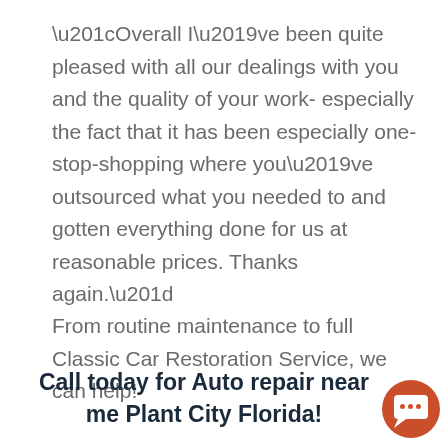“Overall I’ve been quite pleased with all our dealings with you and the quality of your work- especially the fact that it has been especially one-stop-shopping where you’ve outsourced what you needed to and gotten everything done for us at reasonable prices. Thanks again.”
From routine maintenance to full Classic Car Restoration Service, we can help!
Call today for Auto repair near me Plant City Florida!